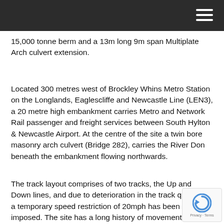15,000 tonne berm and a 13m long 9m span Multiplate Arch culvert extension.
Located 300 metres west of Brockley Whins Metro Station on the Longlands, Eaglescliffe and Newcastle Line (LEN3), a 20 metre high embankment carries Metro and Network Rail passenger and freight services between South Hylton & Newcastle Airport. At the centre of the site a twin bore masonry arch culvert (Bridge 282), carries the River Don beneath the embankment flowing northwards.
The track layout comprises of two tracks, the Up and Down lines, and due to deterioration in the track quality, a temporary speed restriction of 20mph has been imposed. The site has a long history of movement requiring various interventions over the years, including a concrete block retaining wall, sheet piles, soil nails, grouting and construction of a